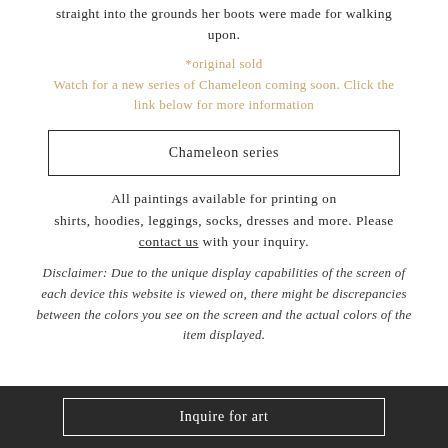straight into the grounds her boots were made for walking upon.
*original sold
Watch for a new series of Chameleon coming soon. Click the link below for more information
Chameleon series
All paintings available for printing on shirts, hoodies, leggings, socks, dresses and more. Please contact us with your inquiry.
Disclaimer: Due to the unique display capabilities of the screen of each device this website is viewed on, there might be discrepancies between the colors you see on the screen and the actual colors of the item displayed.
Inquire for art